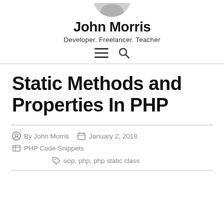[Figure (photo): Partial avatar/profile photo of John Morris, cropped at top]
John Morris
Developer. Freelancer. Teacher
[Figure (other): Navigation icons: hamburger menu and search magnifying glass]
Static Methods and Properties In PHP
By John Morris  January 2, 2018  PHP Code Snippets
oop, php, php static class